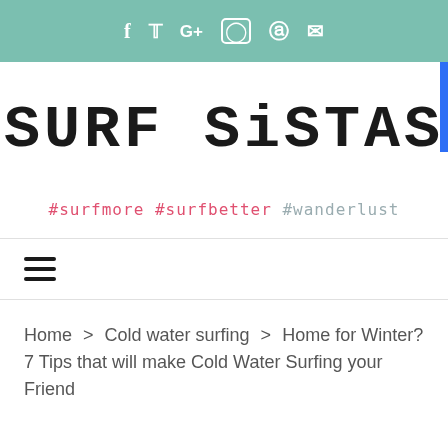f  t  G+  ○  ⊕  ✉
SURF SiSTAS
#surfmore #surfbetter #wanderlust
≡
Home > Cold water surfing > Home for Winter? 7 Tips that will make Cold Water Surfing your Friend